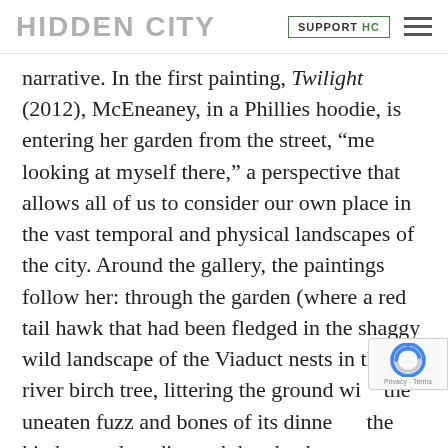HIDDEN CITY | SUPPORT HC
narrative. In the first painting, Twilight (2012), McEneaney, in a Phillies hoodie, is entering her garden from the street, “me looking at myself there,” a perspective that allows all of us to consider our own place in the vast temporal and physical landscapes of the city. Around the gallery, the paintings follow her: through the garden (where a red tail hawk that had been fledged in the shaggy wild landscape of the Viaduct nests in the river birch tree, littering the ground with the uneaten fuzz and bones of its dinners), the kitchen and studio, and then back out